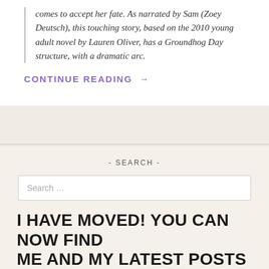comes to accept her fate. As narrated by Sam (Zoey Deutsch), this touching story, based on the 2010 young adult novel by Lauren Oliver, has a Groundhog Day structure, with a dramatic arc.
CONTINUE READING →
- SEARCH -
Search ...
I HAVE MOVED! YOU CAN NOW FIND ME AND MY LATEST POSTS